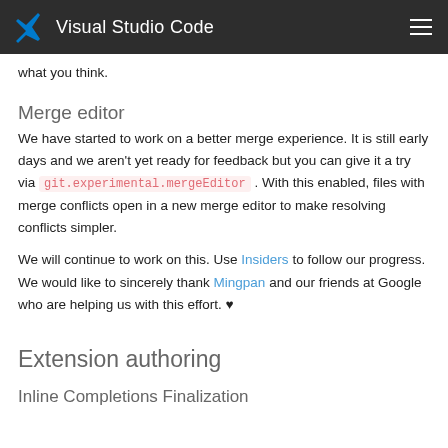Visual Studio Code
what you think.
Merge editor
We have started to work on a better merge experience. It is still early days and we aren't yet ready for feedback but you can give it a try via git.experimental.mergeEditor . With this enabled, files with merge conflicts open in a new merge editor to make resolving conflicts simpler.
We will continue to work on this. Use Insiders to follow our progress. We would like to sincerely thank Mingpan and our friends at Google who are helping us with this effort. ♥
Extension authoring
Inline Completions Finalization